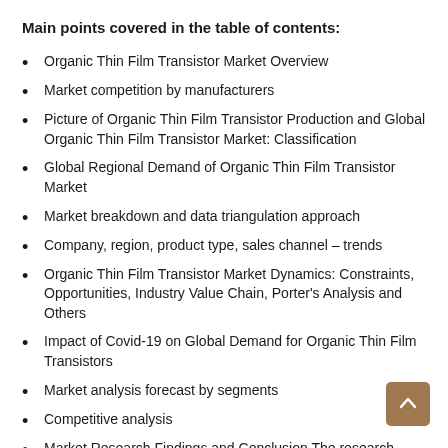Main points covered in the table of contents:
Organic Thin Film Transistor Market Overview
Market competition by manufacturers
Picture of Organic Thin Film Transistor Production and Global Organic Thin Film Transistor Market: Classification
Global Regional Demand of Organic Thin Film Transistor Market
Market breakdown and data triangulation approach
Company, region, product type, sales channel – trends
Organic Thin Film Transistor Market Dynamics: Constraints, Opportunities, Industry Value Chain, Porter's Analysis and Others
Impact of Covid-19 on Global Demand for Organic Thin Film Transistors
Market analysis forecast by segments
Competitive analysis
Market Research Findings and Conclusion The research report studies the past, present and future performance of the global market. The report further analyzes the current competitive scenario, prevalent business models, and likely advances of